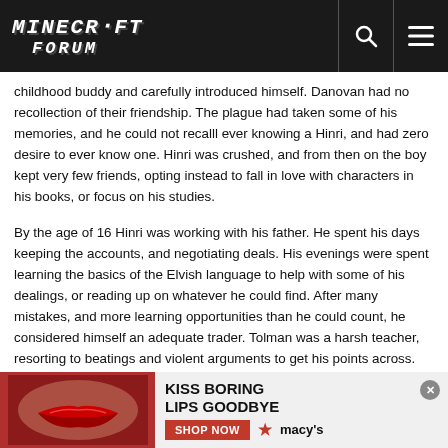Minecraft Forum
childhood buddy and carefully introduced himself. Danovan had no recollection of their friendship. The plague had taken some of his memories, and he could not recalll ever knowing a Hinri, and had zero desire to ever know one. Hinri was crushed, and from then on the boy kept very few friends, opting instead to fall in love with characters in his books, or focus on his studies.
By the age of 16 Hinri was working with his father. He spent his days keeping the accounts, and negotiating deals. His evenings were spent learning the basics of the Elvish language to help with some of his dealings, or reading up on whatever he could find. After many mistakes, and more learning opportunities than he could count, he considered himself an adequate trader. Tolman was a harsh teacher, resorting to beatings and violent arguments to get his points across. Many customers avoided the aging Verner and chose instead to work with Hinri, when they didn't switch companies altogether. The plague had hurt the economy extensively, the once lavish life they had lived was but a distant memory. Between Tolman's anger, and the prices of their goods busines... father's abuse, he very resentf...
[Figure (advertisement): Macy's 'Kiss Boring Lips Goodbye' advertisement banner with red lips imagery, Shop Now button, and close button]